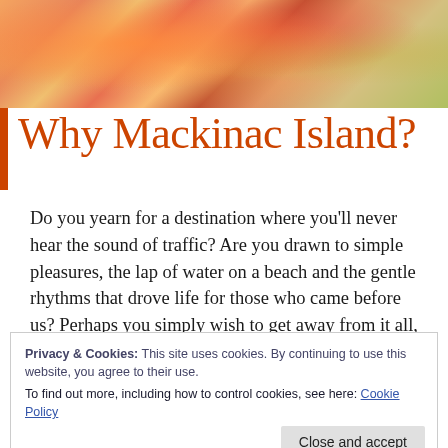[Figure (photo): Colorful floral arrangement photo banner at top of page with orange, pink, red, and yellow flowers]
Why Mackinac Island?
Do you yearn for a destination where you'll never hear the sound of traffic?  Are you drawn to simple pleasures, the lap of water on a beach and the gentle rhythms that drove life for those who came before us? Perhaps you simply wish to get away from it all, to put a moat between you and the rush of day to day life?  Mackinac Island can be all of that and
Privacy & Cookies: This site uses cookies. By continuing to use this website, you agree to their use.
To find out more, including how to control cookies, see here: Cookie Policy
So come to Mackinac and find your island.